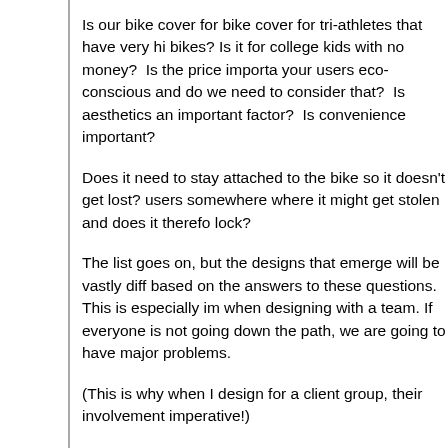Is our bike cover for bike cover for tri-athletes that have very hi bikes? Is it for college kids with no money?  Is the price importa your users eco-conscious and do we need to consider that?  Is aesthetics an important factor?  Is convenience important?
Does it need to stay attached to the bike so it doesn't get lost? users somewhere where it might get stolen and does it therefo lock?
The list goes on, but the designs that emerge will be vastly diff based on the answers to these questions. This is especially im when designing with a team. If everyone is not going down the path, we are going to have major problems.
(This is why when I design for a client group, their involvement imperative!)
Once we list out all our design criteria and everyone agrees to are ready for the ideation phase!
Step 3: Ideation